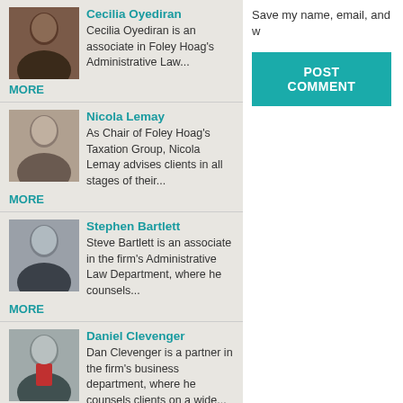[Figure (photo): Photo of Cecilia Oyediran, a Black woman in professional attire]
Cecilia Oyediran
Cecilia Oyediran is an associate in Foley Hoag's Administrative Law...
MORE
[Figure (photo): Photo of Nicola Lemay, a woman with light brown hair in professional attire]
Nicola Lemay
As Chair of Foley Hoag's Taxation Group, Nicola Lemay advises clients in all stages of their...
MORE
[Figure (photo): Photo of Stephen Bartlett, a man in a dark suit]
Stephen Bartlett
Steve Bartlett is an associate in the firm's Administrative Law Department, where he counsels...
MORE
[Figure (photo): Photo of Daniel Clevenger, a man in a suit with red tie]
Daniel Clevenger
Dan Clevenger is a partner in the firm's business department, where he counsels clients on a wide...
MORE
Save my name, email, and w
POST COMMENT